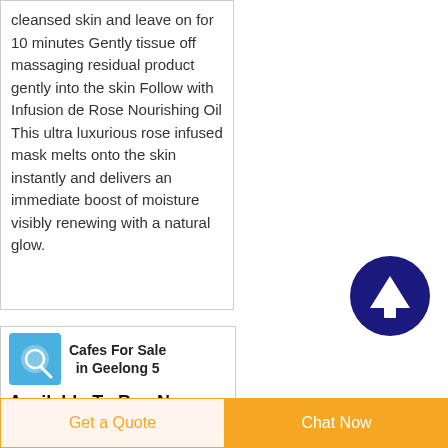cleansed skin and leave on for 10 minutes Gently tissue off massaging residual product gently into the skin Follow with Infusion de Rose Nourishing Oil This ultra luxurious rose infused mask melts onto the skin instantly and delivers an immediate boost of moisture visibly renewing with a natural glow.
[Figure (illustration): Dark navy blue circular button with white upward arrow inside, scroll-to-top UI element]
[Figure (logo): Small square icon with blue background featuring a circular graphic, representing a cafe/business listing]
Cafes For Sale in Geelong 5 Available To Buy Now
Established in 1996 the
Get a Quote
Chat Now